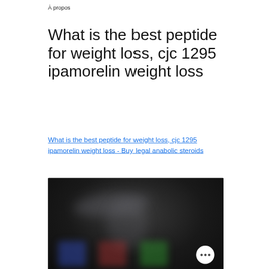À propos
What is the best peptide for weight loss, cjc 1295 ipamorelin weight loss
What is the best peptide for weight loss, cjc 1295 ipamorelin weight loss - Buy legal anabolic steroids
[Figure (photo): Dark blurred image showing indistinct shapes, possibly supplement products, with a white circular button containing three dots in the bottom right corner.]